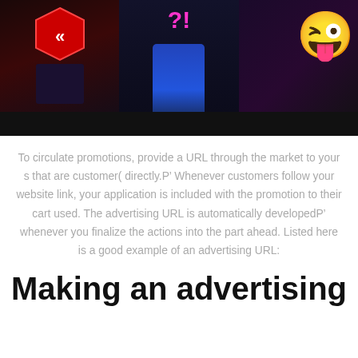[Figure (photo): A dark-themed photo banner showing three segments: left segment with a red hexagonal logo with double chevron, center segment with a person in blue jeans and a pink question mark overlay, right segment with a winking emoji face with tongue out.]
To circulate promotions, provide a URL through the market to your s that are customer( directly.P’ Whenever customers follow your website link, your application is included with the promotion to their cart used. The advertising URL is automatically developedP’ whenever you finalize the actions into the part ahead. Listed here is a good example of an advertising URL:
Making an advertising